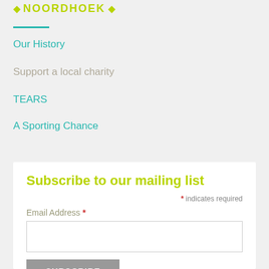◆ NOORDHOEK ◆
Our History
Support a local charity
TEARS
A Sporting Chance
Subscribe to our mailing list
* indicates required
Email Address *
SUBSCRIBE